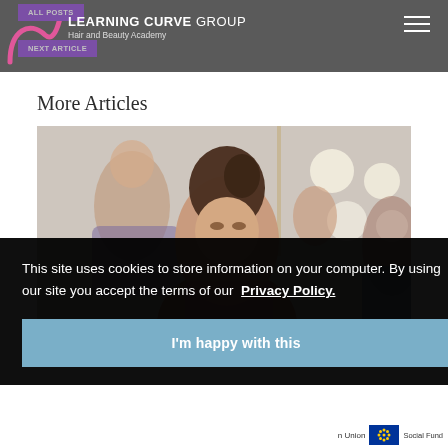Learning Curve Group — Hair and Beauty Academy
All Posts
Next Article
More Articles
[Figure (photo): Photo of a woman in a hair and beauty salon setting, with other students/stylists visible and round Hollywood-style mirror bulbs in the background.]
This site uses cookies to store information on your computer. By using our site you accept the terms of our Privacy Policy.
I'm happy with this
n Union   Social Fund